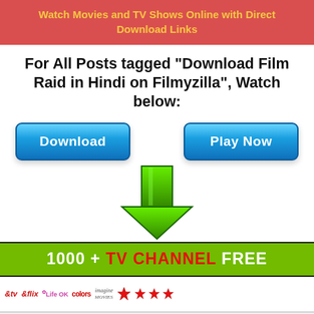Watch Movies and TV Shows Online with Direct Download Links
For All Posts tagged "Download Film Raid in Hindi on Filmyzilla", Watch below:
[Figure (infographic): Two blue Download and Play Now buttons side by side]
[Figure (illustration): Large green downward-pointing arrow]
[Figure (infographic): 1000 + TV CHANNEL FREE banner with channel logos including &tv, &flix, Life OK, Colors, Imagine Movies, Star channels, National, FX and others]